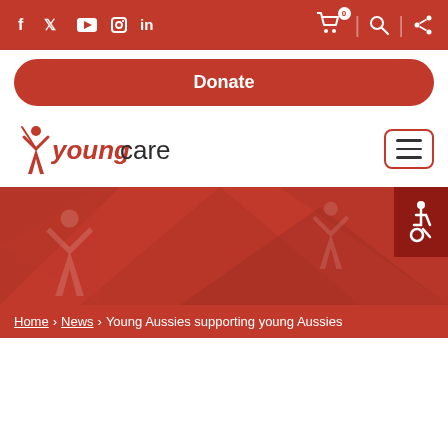Social icons: Facebook, Twitter, YouTube, Instagram, LinkedIn | Cart (0) | Search | Share
[Figure (logo): Youngcare logo with red stylized Y figure and text 'young' in red italic bold and 'care' in dark grey]
Donate
[Figure (infographic): Red banner/hero section with triangular geometric shapes in darker red]
Home > News > Young Aussies supporting young Aussies